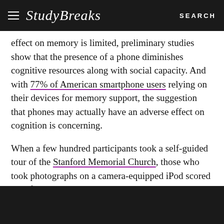Study Breaks   SEARCH
effect on memory is limited, preliminary studies show that the presence of a phone diminishes cognitive resources along with social capacity. And with 77% of American smartphone users relying on their devices for memory support, the suggestion that phones may actually have an adverse effect on cognition is concerning.
When a few hundred participants took a self-guided tour of the Stanford Memorial Church, those who took photographs on a camera-equipped iPod scored significantly lower on a